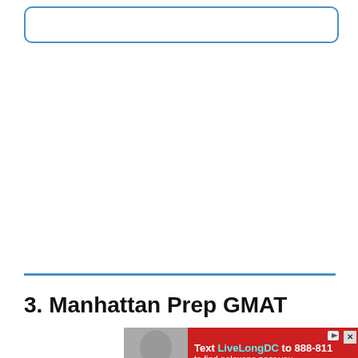[Figure (other): Blue rounded rectangle border box at top of page, empty content area]
3. Manhattan Prep GMAT
[Figure (other): Red advertisement banner: Text LiveLongDC to 888-811 to find naloxone near you, with person holding nasal spray product on left side]